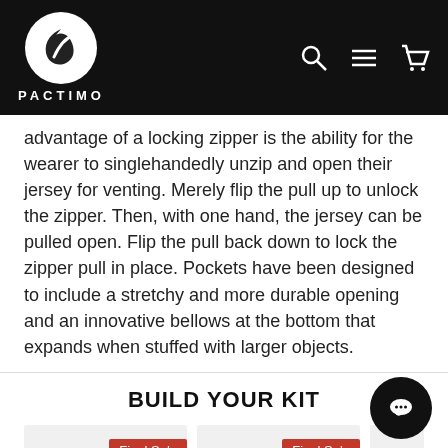PACTIMO
advantage of a locking zipper is the ability for the wearer to singlehandedly unzip and open their jersey for venting. Merely flip the pull up to unlock the zipper. Then, with one hand, the jersey can be pulled open. Flip the pull back down to lock the zipper pull in place. Pockets have been designed to include a stretchy and more durable opening and an innovative bellows at the bottom that expands when stuffed with larger objects.
BUILD YOUR KIT
Final Sale
Final Sale